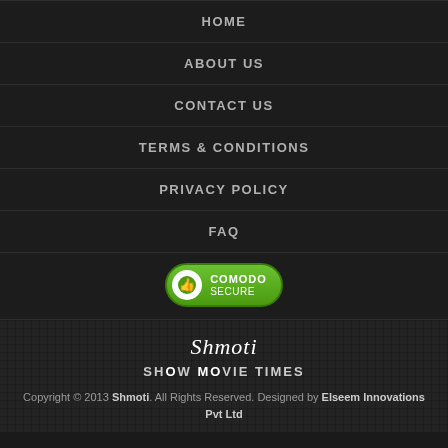HOME
ABOUT US
CONTACT US
TERMS & CONDITIONS
PRIVACY POLICY
FAQ
[Figure (logo): Comodo Secure badge - green oval button with thumbs up icon and COMODO SECURE text]
Shmoti
SHOW MOVIE TIMES
Copyright © 2013 Shmoti. All Rights Reserved. Designed by Elseem Innovations Pvt Ltd